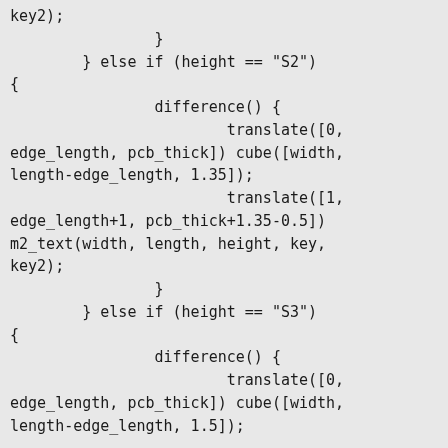key2);
                }
        } else if (height == "S2")
{
                difference() {
                        translate([0,
edge_length, pcb_thick]) cube([width,
length-edge_length, 1.35]);
                        translate([1,
edge_length+1, pcb_thick+1.35-0.5])
m2_text(width, length, height, key,
key2);
                }
        } else if (height == "S3")
{
                difference() {
                        translate([0,
edge_length, pcb_thick]) cube([width,
length-edge_length, 1.5]);